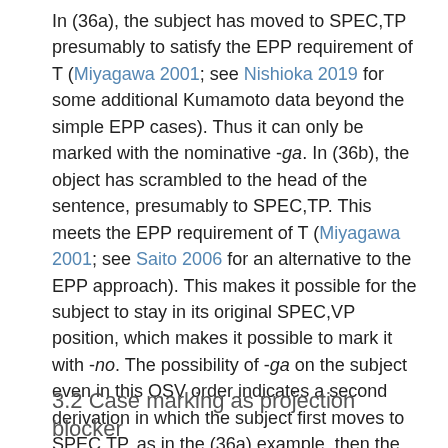In (36a), the subject has moved to SPEC,TP presumably to satisfy the EPP requirement of T (Miyagawa 2001; see Nishioka 2019 for some additional Kumamoto data beyond the simple EPP cases). Thus it can only be marked with the nominative -ga. In (36b), the object has scrambled to the head of the sentence, presumably to SPEC,TP. This meets the EPP requirement of T (Miyagawa 2001; see Saito 2006 for an alternative to the EPP approach). This makes it possible for the subject to stay in its original SPEC,VP position, which makes it possible to mark it with -no. The possibility of -ga on the subject even in this OSV order indicates a second derivation in which the subject first moves to SPEC,TP, as in the (36a) example, then the object scrambles across it. The important point here is that the subject may stay in its original VP-internal position despite the {DP, VP} structure, because the subject is morphologically case-marked, which makes it possible to avoid a POP without moving the subject out of the verbal projection.
3.2 Case marking as projection blocker